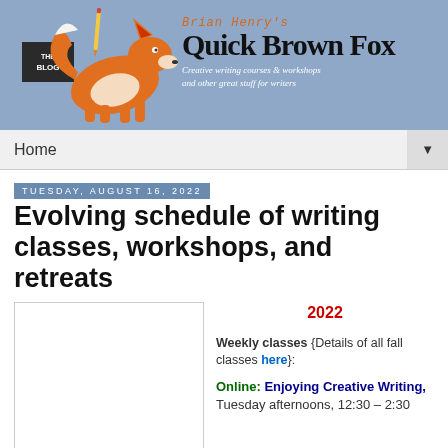[Figure (logo): Brian Henry's Quick Brown Fox blog header with orange fox illustration, blog title, and subtitle 'Creative writing courses & workshops and other great stuff for writers']
Home ▼
Tuesday, August 16, 2022
Evolving schedule of writing classes, workshops, and retreats
[Figure (photo): White/blank image placeholder box on left side]
2022
Weekly classes {Details of all fall classes here}:
Online: Enjoying Creative Writing, Tuesday afternoons, 12:30 – 2:30